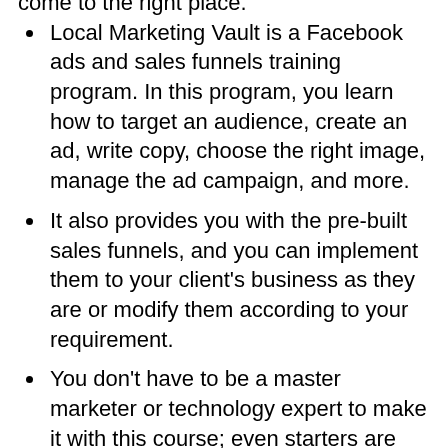Local Marketing Vault is a Facebook ads and sales funnels training program. In this program, you learn how to target an audience, create an ad, write copy, choose the right image, manage the ad campaign, and more.
It also provides you with the pre-built sales funnels, and you can implement them to your client's business as they are or modify them according to your requirement.
You don't have to be a master marketer or technology expert to make it with this course; even starters are earning good money.
By joining this program, you will be included in a private Facebook group of